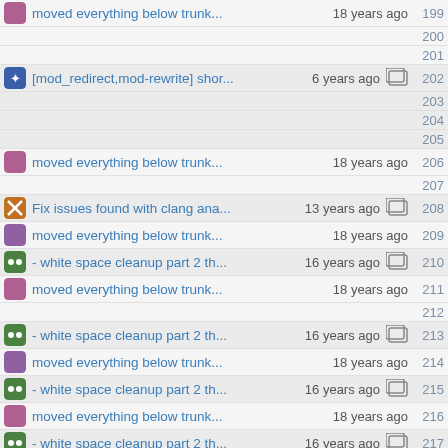moved everything below trunk... 18 years ago 199
200
201
[mod_redirect,mod-rewrite] shor...6 years ago 202
203
204
205
moved everything below trunk... 18 years ago 206
207
Fix issues found with clang ana...13 years ago 208
moved everything below trunk... 18 years ago 209
- white space cleanup part 2 th...16 years ago 210
moved everything below trunk... 18 years ago 211
212
- white space cleanup part 2 th...16 years ago 213
moved everything below trunk... 18 years ago 214
- white space cleanup part 2 th...16 years ago 215
moved everything below trunk... 18 years ago 216
- white space cleanup part 2 th...16 years ago 217
Fix issues found with clang ana...13 years ago 218
Fix segfault with broken rewrit...13 years ago 219